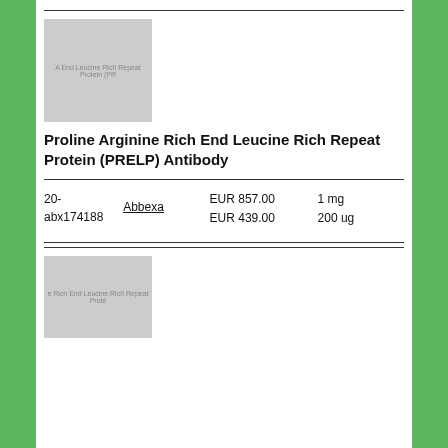[Figure (photo): Placeholder product image for Proline Arginine Rich End Leucine Rich Repeat Protein (PRELP) Antibody, grey rectangle with text overlay]
Proline Arginine Rich End Leucine Rich Repeat Protein (PRELP) Antibody
| ID | Supplier | Price | Size |
| --- | --- | --- | --- |
| 20-abx174188 | Abbexa | EUR 857.00
EUR 439.00 | 1 mg
200 ug |
[Figure (photo): Placeholder product image for second product, grey rectangle with text overlay]